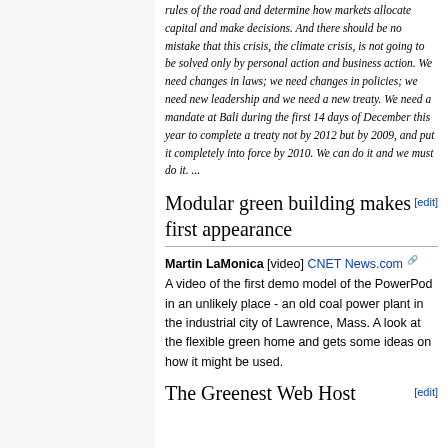rules of the road and determine how markets allocate capital and make decisions. And there should be no mistake that this crisis, the climate crisis, is not going to be solved only by personal action and business action. We need changes in laws; we need changes in policies; we need new leadership and we need a new treaty. We need a mandate at Bali during the first 14 days of December this year to complete a treaty not by 2012 but by 2009, and put it completely into force by 2010. We can do it and we must do it. ...
Modular green building makes first appearance
Martin LaMonica [video] CNET News.com
A video of the first demo model of the PowerPod in an unlikely place - an old coal power plant in the industrial city of Lawrence, Mass. A look at the flexible green home and gets some ideas on how it might be used.
The Greenest Web Host